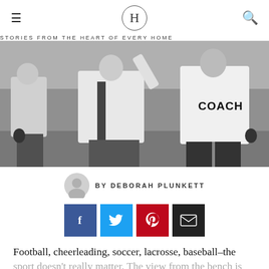H — STORIES FROM THE HEART OF EVERY HOME
[Figure (photo): Black and white photo of sports players and a coach on a field, seen from behind. The coach wears a jersey labeled COACH.]
BY DEBORAH PLUNKETT
[Figure (infographic): Row of four social sharing buttons: Facebook (blue), Twitter (light blue), Pinterest (red), Email (dark/black)]
Football, cheerleading, soccer, lacrosse, baseball–the sport doesn't really matter. The view from the bench is the same for all sports. It is the hardest view a young